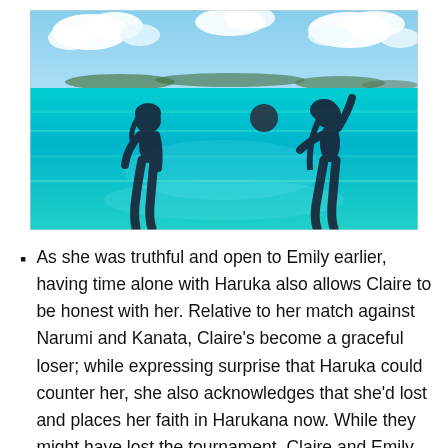[Figure (illustration): Anime-style illustration of two female silhouettes playing volleyball on a tropical beach with vivid turquoise water and an island visible on the horizon under a blue sky with clouds.]
As she was truthful and open to Emily earlier, having time alone with Haruka also allows Claire to be honest with her. Relative to her match against Narumi and Kanata, Claire's become a graceful loser; while expressing surprise that Haruka could counter her, she also acknowledges that she'd lost and places her faith in Harukana now. While they might have lost the tournament, Claire and Emily both win something much